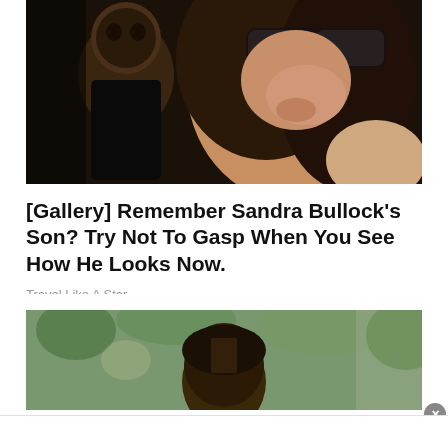[Figure (photo): A woman with dark sunglasses and long dark hair holding a young child. Celebrity photo, likely paparazzi shot.]
[Gallery] Remember Sandra Bullock's Son? Try Not To Gasp When You See How He Looks Now.
Travel Like A Star
[Figure (photo): Second photo partially visible showing a child with dark hair outdoors with green foliage in background.]